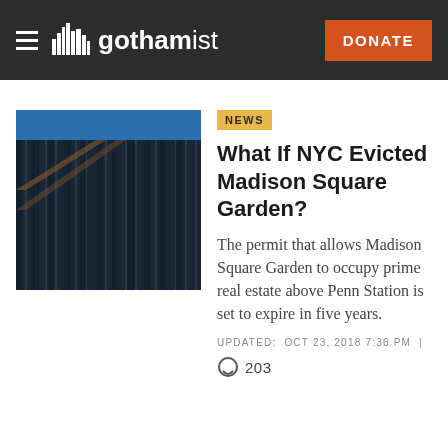gothamist | DONATE
[Figure (photo): Close-up photo of Madison Square Garden building facade showing dark vertical metal grilles and architectural details with blue sky visible at top]
NEWS
What If NYC Evicted Madison Square Garden?
The permit that allows Madison Square Garden to occupy prime real estate above Penn Station is set to expire in five years.
UPDATED: OCT 23, 2018 7:36 PM |
203